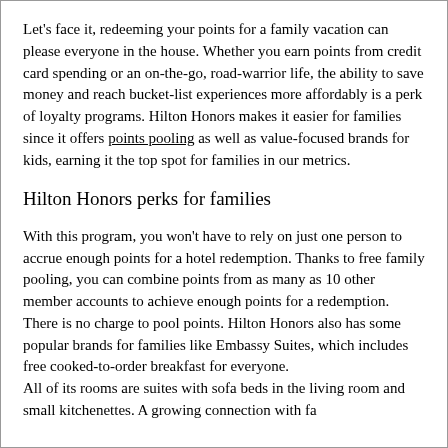Let's face it, redeeming your points for a family vacation can please everyone in the house. Whether you earn points from credit card spending or an on-the-go, road-warrior life, the ability to save money and reach bucket-list experiences more affordably is a perk of loyalty programs. Hilton Honors makes it easier for families since it offers points pooling as well as value-focused brands for kids, earning it the top spot for families in our metrics.
Hilton Honors perks for families
With this program, you won't have to rely on just one person to accrue enough points for a hotel redemption. Thanks to free family pooling, you can combine points from as many as 10 other member accounts to achieve enough points for a redemption. There is no charge to pool points. Hilton Honors also has some popular brands for families like Embassy Suites, which includes free cooked-to-order breakfast for everyone.
All of its rooms are suites with sofa beds in the living room and small kitchenettes. A growing connection with fa...